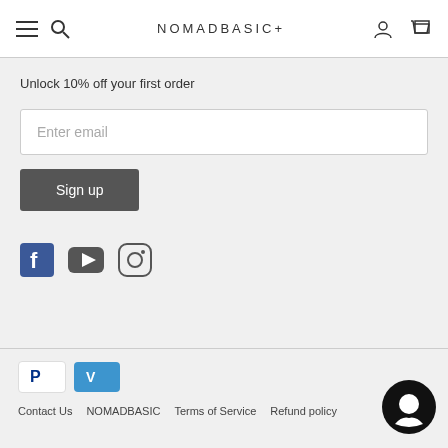NOMADBASIC+
Unlock 10% off your first order
Enter email
Sign up
[Figure (logo): Social media icons: Facebook, YouTube, Instagram]
[Figure (logo): Payment badges: PayPal and Venmo]
Contact Us   NOMADBASIC   Terms of Service   Refund policy